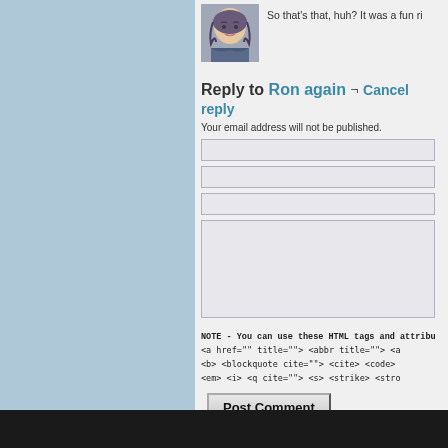So that's that, huh? It was a fun ri
Reply to Ron again ¬ Cancel reply
Your email address will not be published.
NOTE - You can use these HTML tags and attribu <a href="" title=""> <abbr title=""> <a <b> <blockquote cite=""> <cite> <code> <em> <i> <q cite=""> <s> <strike> <stro